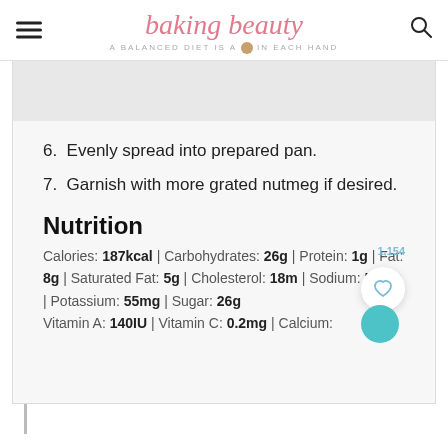baking beauty — A BALANCED DIET IS A [cookie] IN EACH HAND
6. Evenly spread into prepared pan.
7. Garnish with more grated nutmeg if desired.
Nutrition
Calories: 187kcal | Carbohydrates: 26g | Protein: 1g | Fat: 8g | Saturated Fat: 5g | Cholesterol: 18mg | Sodium: 51mg | Potassium: 55mg | Sugar: 26g | Vitamin A: 140IU | Vitamin C: 0.2mg | Calcium: